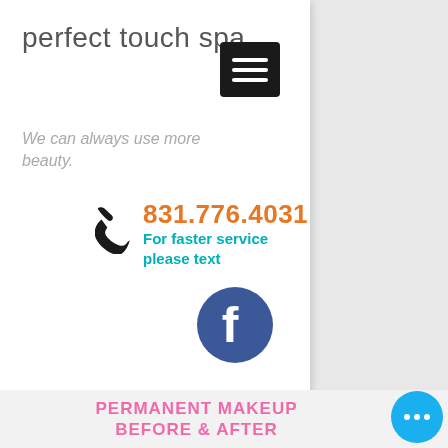perfect touch spa
[Figure (other): Hamburger menu button (three horizontal lines on dark background)]
We can always use more beauty.
831.776.4031
For faster service please text
[Figure (logo): Facebook logo icon (blue circle with white f)]
PERMANENT MAKEUP BEFORE & AFTER
[Figure (other): Blue circular button with three white dots (more options)]